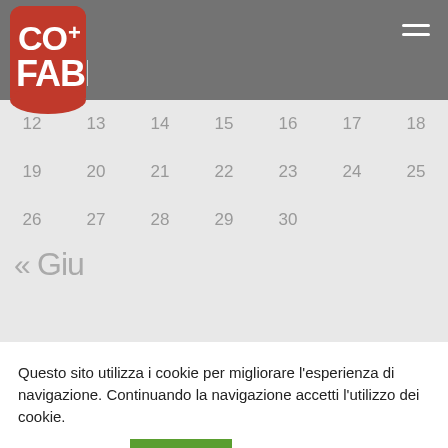[Figure (logo): CO+FABB logo with red shield background and white bold text]
| 12 | 13 | 14 | 15 | 16 | 17 | 18 |
| 19 | 20 | 21 | 22 | 23 | 24 | 25 |
| 26 | 27 | 28 | 29 | 30 |  |  |
« Giu
Questo sito utilizza i cookie per migliorare l'esperienza di navigazione. Continuando la navigazione accetti l'utilizzo dei cookie.
Cookie settings   ACCEPT